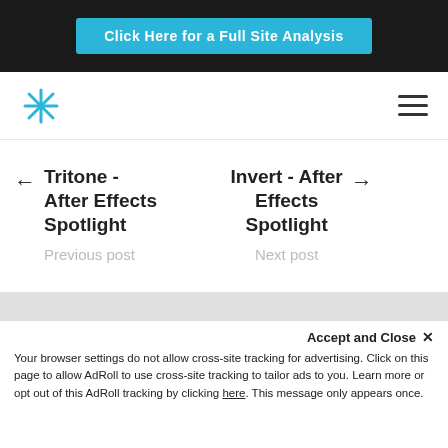Click Here for a Full Site Analysis
[Figure (logo): Star/asterisk logo icon in blue, navigation hamburger menu icon on right]
← Tritone - After Effects Spotlight
Previous post
Invert - After Effects Spotlight →
Next post
Accept and Close ✕
Your browser settings do not allow cross-site tracking for advertising. Click on this page to allow AdRoll to use cross-site tracking to tailor ads to you. Learn more or opt out of this AdRoll tracking by clicking here. This message only appears once.